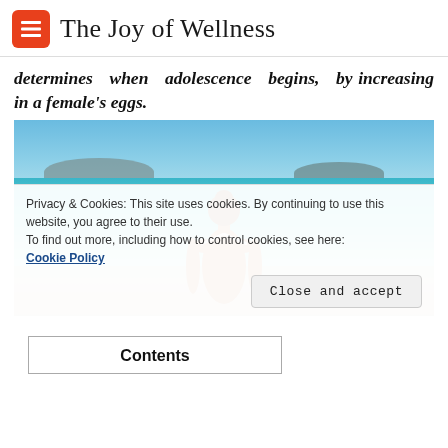The Joy of Wellness
determines when adolescence begins, by increasing in a female's eggs.
[Figure (photo): Woman in white bikini top seen from behind, standing in turquoise ocean water with islands and blue sky in background]
Privacy & Cookies: This site uses cookies. By continuing to use this website, you agree to their use.
To find out more, including how to control cookies, see here: Cookie Policy
Contents